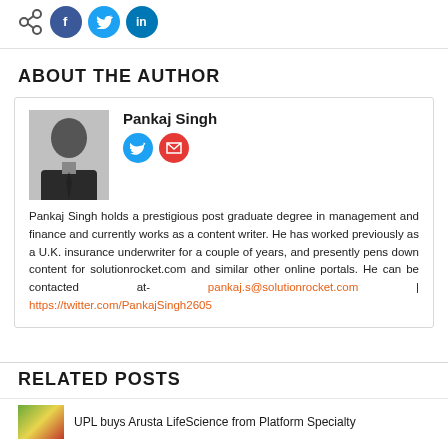[Figure (other): Share icons: generic share, Facebook, Twitter, LinkedIn circular buttons]
ABOUT THE AUTHOR
[Figure (photo): Black and white portrait photo of Pankaj Singh in suit and tie]
Pankaj Singh
[Figure (other): Social icons: Twitter and email/envelope buttons]
Pankaj Singh holds a prestigious post graduate degree in management and finance and currently works as a content writer. He has worked previously as a U.K. insurance underwriter for a couple of years, and presently pens down content for solutionrocket.com and similar other online portals. He can be contacted at- pankaj.s@solutionrocket.com | https://twitter.com/PankajSingh2605
RELATED POSTS
UPL buys Arusta LifeScience from Platform Specialty